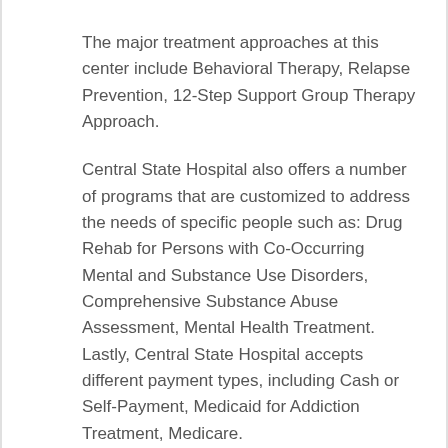The major treatment approaches at this center include Behavioral Therapy, Relapse Prevention, 12-Step Support Group Therapy Approach.
Central State Hospital also offers a number of programs that are customized to address the needs of specific people such as: Drug Rehab for Persons with Co-Occurring Mental and Substance Use Disorders, Comprehensive Substance Abuse Assessment, Mental Health Treatment. Lastly, Central State Hospital accepts different payment types, including Cash or Self-Payment, Medicaid for Addiction Treatment, Medicare.